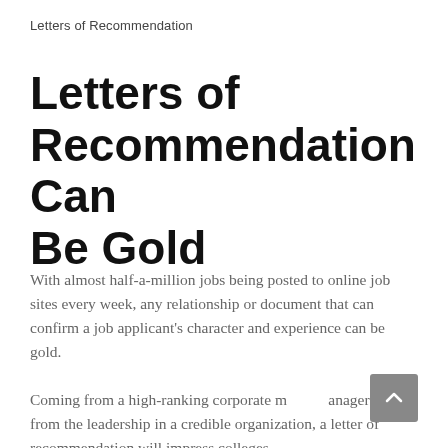Letters of Recommendation
Letters of Recommendation Can Be Gold
With almost half-a-million jobs being posted to online job sites every week, any relationship or document that can confirm a job applicant's character and experience can be gold.
Coming from a high-ranking corporate manager or from the leadership in a credible organization, a letter of recommendation will impress colleges